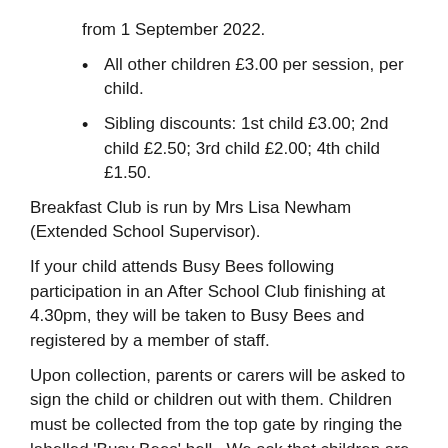from 1 September 2022.
All other children £3.00 per session, per child.
Sibling discounts: 1st child £3.00; 2nd child £2.50; 3rd child £2.00; 4th child £1.50.
Breakfast Club is run by Mrs Lisa Newham (Extended School Supervisor).
If your child attends Busy Bees following participation in an After School Club finishing at 4.30pm, they will be taken to Busy Bees and registered by a member of staff.
Upon collection, parents or carers will be asked to sign the child or children out with them. Children must be collected from the top gate by ringing the labelled 'Busy Bees' bell.  We ask that children are collected no later than 5.30pm.  Children will only be released to adults nominated on a completed registration form.  We kindly remind all adults and carers that